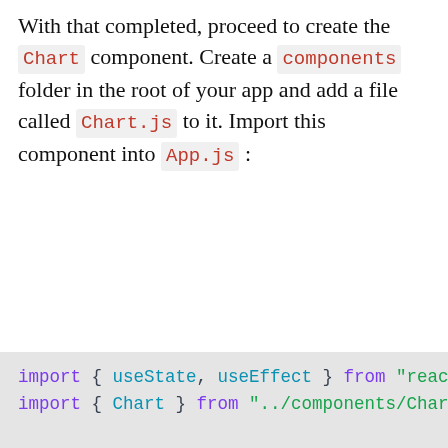With that completed, proceed to create the Chart component. Create a components folder in the root of your app and add a file called Chart.js to it. Import this component into App.js :
[Figure (screenshot): Code block showing JavaScript import statements and the beginning of a React App component function with useState, useEffect, Chart import, and chartData state declaration with a return statement starting.]